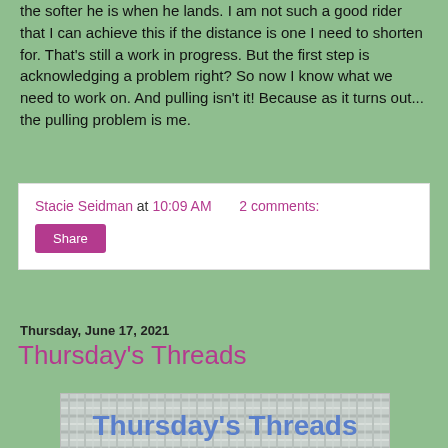the softer he is when he lands. I am not such a good rider that I can achieve this if the distance is one I need to shorten for. That's still a work in progress. But the first step is acknowledging a problem right? So now I know what we need to work on. And pulling isn't it! Because as it turns out... the pulling problem is me.
Stacie Seidman at 10:09 AM   2 comments:
Share
Thursday, June 17, 2021
Thursday's Threads
[Figure (illustration): Thursday's Threads logo image with text 'Thursday's Threads' in blue on a woven/wicker background pattern]